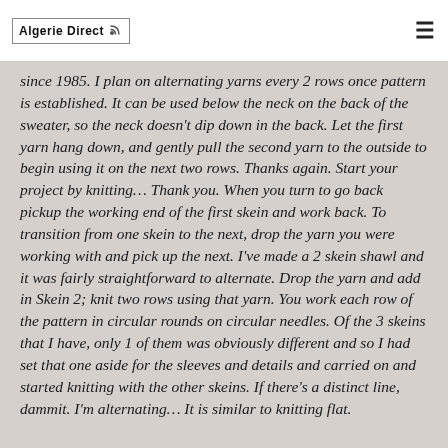Algerie Direct
since 1985. I plan on alternating yarns every 2 rows once pattern is established. It can be used below the neck on the back of the sweater, so the neck doesn't dip down in the back. Let the first yarn hang down, and gently pull the second yarn to the outside to begin using it on the next two rows. Thanks again. Start your project by knitting… Thank you. When you turn to go back pickup the working end of the first skein and work back. To transition from one skein to the next, drop the yarn you were working with and pick up the next. I've made a 2 skein shawl and it was fairly straightforward to alternate. Drop the yarn and add in Skein 2; knit two rows using that yarn. You work each row of the pattern in circular rounds on circular needles. Of the 3 skeins that I have, only 1 of them was obviously different and so I had set that one aside for the sleeves and details and carried on and started knitting with the other skeins. If there's a distinct line, dammit. I'm alternating… It is similar to knitting flat.